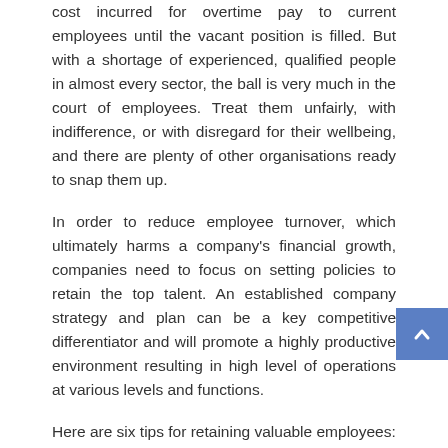cost incurred for overtime pay to current employees until the vacant position is filled. But with a shortage of experienced, qualified people in almost every sector, the ball is very much in the court of employees. Treat them unfairly, with indifference, or with disregard for their wellbeing, and there are plenty of other organisations ready to snap them up.
In order to reduce employee turnover, which ultimately harms a company's financial growth, companies need to focus on setting policies to retain the top talent. An established company strategy and plan can be a key competitive differentiator and will promote a highly productive environment resulting in high level of operations at various levels and functions.
Here are six tips for retaining valuable employees:
Get recruitment right
Recognising that talent retention starts with the right